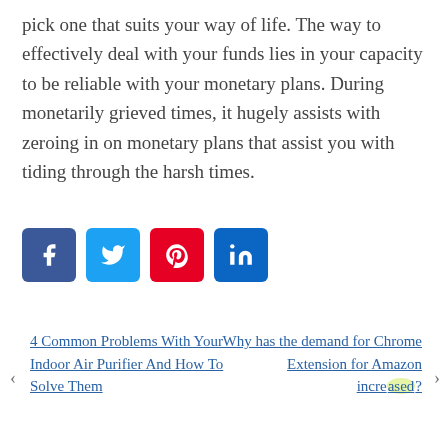pick one that suits your way of life. The way to effectively deal with your funds lies in your capacity to be reliable with your monetary plans. During monetarily grieved times, it hugely assists with zeroing in on monetary plans that assist you with tiding through the harsh times.
[Figure (infographic): Four social media share buttons: Facebook (blue), Twitter (light blue), Pinterest (red), LinkedIn (blue)]
4 Common Problems With Your Indoor Air Purifier And How To Solve Them
Why has the demand for Chrome Extension for Amazon increased?